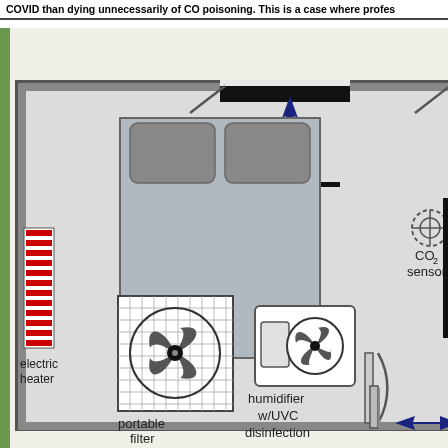COVID than dying unnecessarily of CO poisoning. This is a case where profes...
[Figure (engineering-diagram): Floor plan diagram of a bedroom showing ventilation and air quality measures including: open window with bidirectional blue arrow, CO2 sensor, electric heater (red stripes), portable filter MERV 13 or better (fan diagram), humidifier w/UVC disinfection, closed door with undercut blocked w/towel, and an adjacent room/bathroom with exhaust fan (red arrow up), toilet, sink, and open/closed door indicator.]